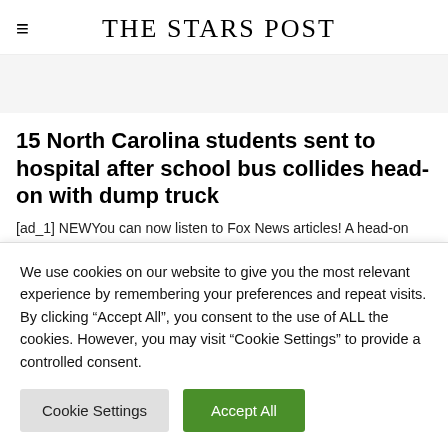THE STARS POST
15 North Carolina students sent to hospital after school bus collides head-on with dump truck
[ad_1] NEWYou can now listen to Fox News articles! A head-on collision between a school bus and a dump truck Wednesday in
We use cookies on our website to give you the most relevant experience by remembering your preferences and repeat visits. By clicking "Accept All", you consent to the use of ALL the cookies. However, you may visit "Cookie Settings" to provide a controlled consent.